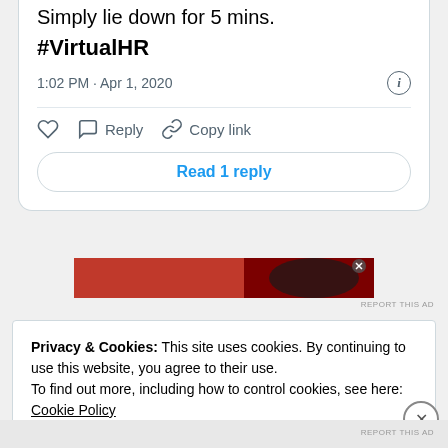Simply lie down for 5 mins.
#VirtualHR
1:02 PM · Apr 1, 2020
Reply   Copy link
Read 1 reply
[Figure (screenshot): Red advertisement banner with dark image on right side]
REPORT THIS AD
Privacy & Cookies: This site uses cookies. By continuing to use this website, you agree to their use.
To find out more, including how to control cookies, see here: Cookie Policy
Close and accept